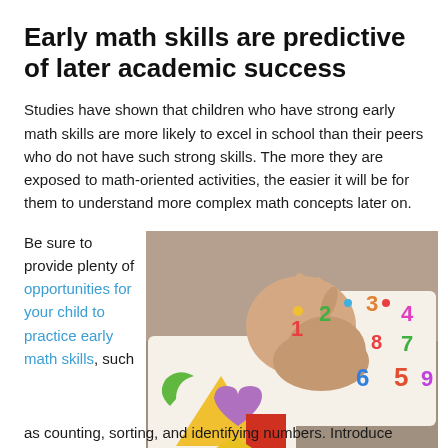Early math skills are predictive of later academic success
Studies have shown that children who have strong early math skills are more likely to excel in school than their peers who do not have such strong skills. The more they are exposed to math-oriented activities, the easier it will be for them to understand more complex math concepts later on.
Be sure to provide plenty of opportunities for your child to practice early math skills, such as counting, sorting, and identifying numbers. Introduce
[Figure (photo): A child's hands playing with colorful number and shape puzzle boards on the floor. The puzzles feature brightly colored foam numbers (1-9) and shapes including a yellow triangle, purple heart, green crescent, and red square.]